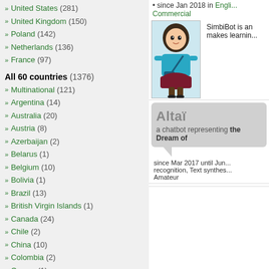United States (281)
United Kingdom (150)
Poland (142)
Netherlands (136)
France (97)
All 60 countries (1376)
Multinational (121)
Argentina (14)
Australia (20)
Austria (8)
Azerbaijan (2)
Belarus (1)
Belgium (10)
Bolivia (1)
Brazil (13)
British Virgin Islands (1)
Canada (24)
Chile (2)
China (10)
Colombia (2)
Cyprus (1)
Czech Republic (2)
Denmark (8)
Ecuador (2)
since Jan 2018 in English... Commercial
[Figure (illustration): SimbiBot avatar illustration - animated character in blue top and maroon skirt with bag]
SimbiBot is an... makes learning...
Altaï - a chatbot representing the Dream of...
since Mar 2017 until Jun... recognition, Text synthesis... Amateur
IFRS Rookies